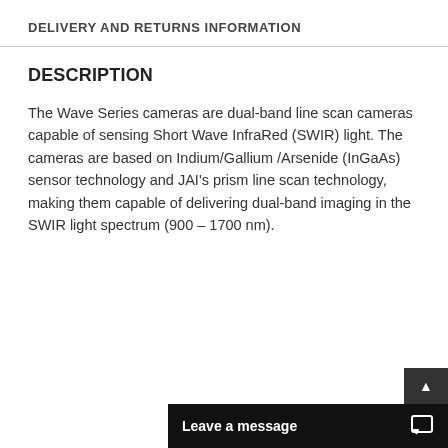DELIVERY AND RETURNS INFORMATION
DESCRIPTION
The Wave Series cameras are dual-band line scan cameras capable of sensing Short Wave InfraRed (SWIR) light. The cameras are based on Indium/Gallium /Arsenide (InGaAs) sensor technology and JAI's prism line scan technology, making them capable of delivering dual-band imaging in the SWIR light spectrum (900 – 1700 nm).